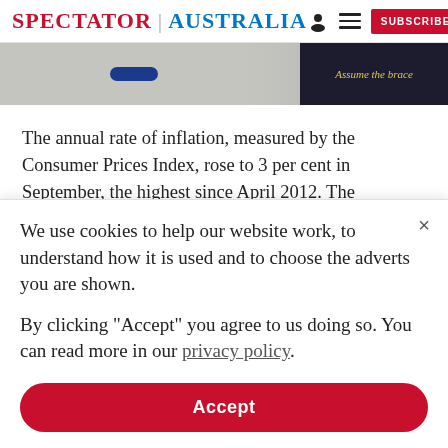SPECTATOR | AUSTRALIA
[Figure (screenshot): Banner image with blue button and dark card on right with text 'Assume the brace']
The annual rate of inflation, measured by the Consumer Prices Index, rose to 3 per cent in September, the highest since April 2012. The September figure governs the rise in state pensions. By the Retail Prices
We use cookies to help our website work, to understand how it is used and to choose the adverts you are shown.
By clicking "Accept" you agree to us doing so. You can read more in our privacy policy.
Accept